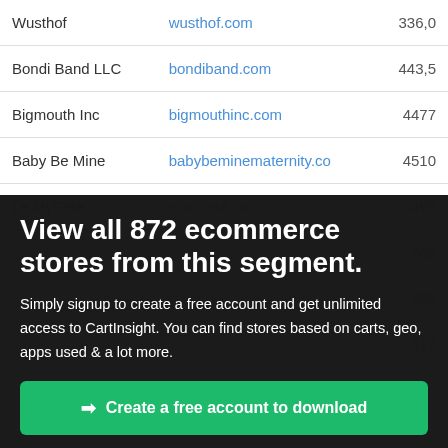| Store | URL | Value |
| --- | --- | --- |
| Wusthof | wusthof.com | 336,0... |
| Bondi Band LLC | bondiband.com | 443,5... |
| Bigmouth Inc | bigmouthinc.com | 447,7... |
| Baby Be Mine | babybeminematernity.co... | 4510... |
| Le MySere | ellascare.com... | 495... |
| (partially visible) | (partially visible) | 565... |
| (partially visible) | (partially visible) | 535... |
| (partially visible) | (partially visible) | 517... |
View all 872 ecommerce stores from this segment.
Simply signup to create a free account and get unlimited access to CartInsight. You can find stores based on carts, geo, apps used & a lot more.
Create a free account to download